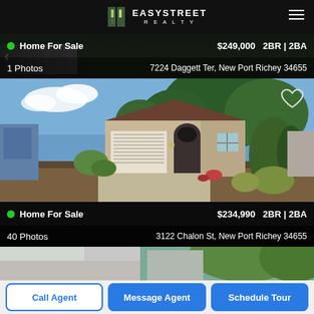EASYSTREET REALTY
[Figure (photo): Listing 1 photo – dark green foliage background with partial car visible, Home For Sale listing]
Home For Sale   $249,000   2BR | 2BA
1 Photos   7224 Daggett Ter, New Port Richey 34655
[Figure (photo): Listing 2 photo – single-story beige stucco home with attached garage, arched doorway, landscaping, blue sky]
Home For Sale   $234,990   2BR | 2BA
40 Photos   3122 Chalon St, New Port Richey 34655
[Figure (photo): Partial photo of a third listing at bottom of screen]
Call Agent
Message Agent
Schedule Tour